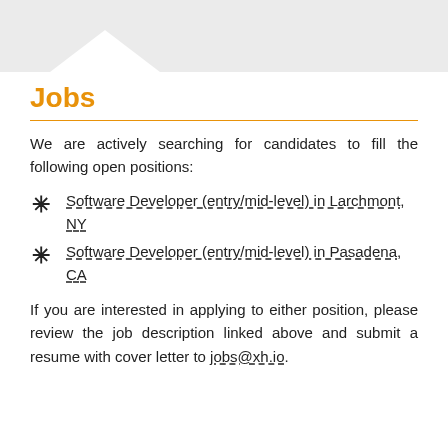[Figure (other): Gray decorative header band with a downward-pointing chevron/arrow shape cut out in white]
Jobs
We are actively searching for candidates to fill the following open positions:
Software Developer (entry/mid-level) in Larchmont, NY
Software Developer (entry/mid-level) in Pasadena, CA
If you are interested in applying to either position, please review the job description linked above and submit a resume with cover letter to jobs@xh.io.